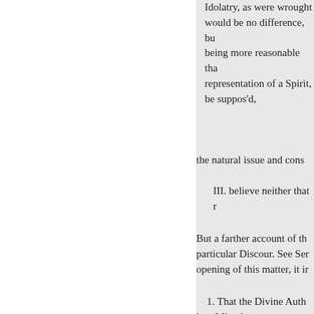Idolatry, as were wrought would be no difference, bu being more reasonable tha representation of a Spirit, be suppos'd,
the natural issue and cons
III. believe neither that r
But a farther account of th particular Discour. See Ser opening of this matter, it ir
1. That the Divine Auth into Miracles.
2. What assurance of M Testimony, for the confirm
3. What assurance they s
But the Consideration of th